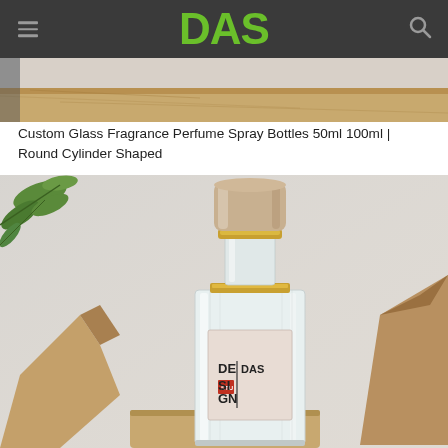DAS
[Figure (photo): Partial view of wooden surface with soft background, top strip of product scene]
Custom Glass Fragrance Perfume Spray Bottles 50ml 100ml | Round Cylinder Shaped
[Figure (photo): Perfume bottle with round cylinder cap (gold and cream colored), clear glass body with DAS Design Studio label, surrounded by green leaves and wooden/kraft paper props on a light background]